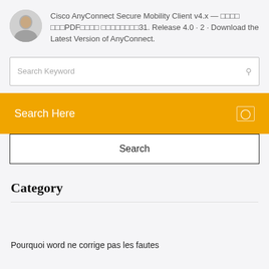Cisco AnyConnect Secure Mobility Client v4.x — □□□□ □□□PDF□□□□ □□□□□□□□31. Release 4.0 · 2 · Download the Latest Version of AnyConnect.
Search Here
Search
Category
Pourquoi word ne corrige pas les fautes